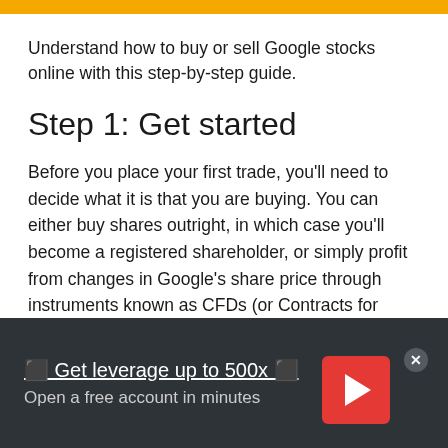Understand how to buy or sell Google stocks online with this step-by-step guide.
Step 1: Get started
Before you place your first trade, you'll need to decide what it is that you are buying. You can either buy shares outright, in which case you'll become a registered shareholder, or simply profit from changes in Google's share price through instruments known as CFDs (or Contracts for Difference).
⬛ Get leverage up to 500x ⬛
Open a free account in minutes